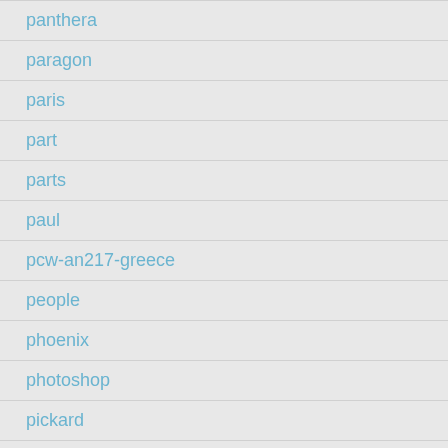panthera
paragon
paris
part
parts
paul
pcw-an217-greece
people
phoenix
photoshop
pickard
piece
pieces